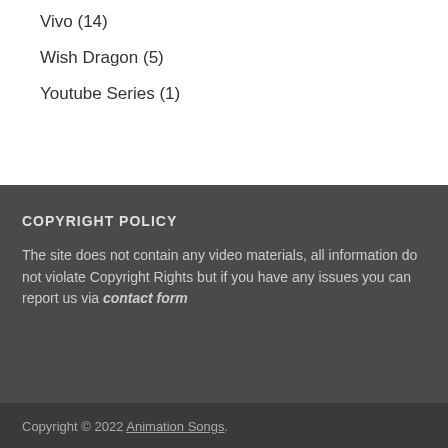Vivo (14)
Wish Dragon (5)
Youtube Series (1)
COPYRIGHT POLICY
The site does not contain any video materials, all information do not violate Copyright Rights but if you have any issues you can report us via contact form
Copyright © 2022 Animation Songs.